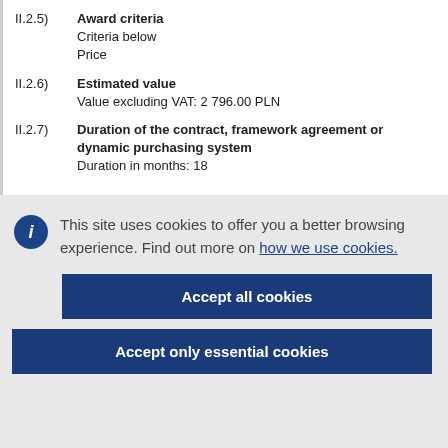II.2.5) Award criteria
Criteria below
Price
II.2.6) Estimated value
Value excluding VAT: 2 796.00 PLN
II.2.7) Duration of the contract, framework agreement or dynamic purchasing system
Duration in months: 18
This site uses cookies to offer you a better browsing experience. Find out more on how we use cookies.
Accept all cookies
Accept only essential cookies